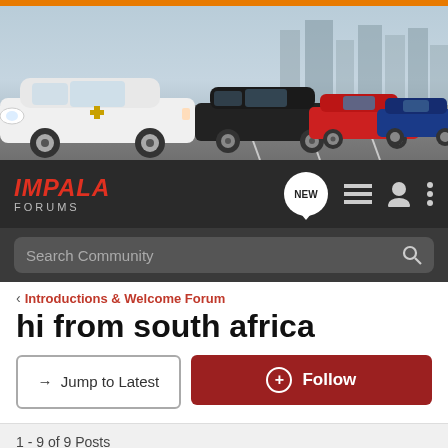[Figure (photo): Banner image showing multiple Chevrolet Impala cars parked — white, black, red, and blue models — against a city background. Orange bar at the very top.]
IMPALA FORUMS — navigation bar with NEW bubble, list icon, user icon, and more icon
Search Community
< Introductions & Welcome Forum
hi from south africa
→ Jump to Latest
+ Follow
1 - 9 of 9 Posts
turbo-gp · Registered
Joined Dec 3, 2008 · 3 Posts